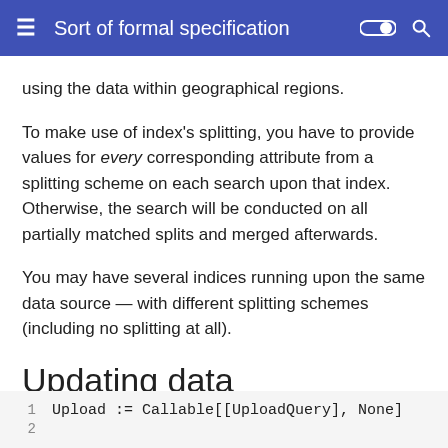Sort of formal specification
using the data within geographical regions.
To make use of index's splitting, you have to provide values for every corresponding attribute from a splitting scheme on each search upon that index. Otherwise, the search will be conducted on all partially matched splits and merged afterwards.
You may have several indices running upon the same data source — with different splitting schemes (including no splitting at all).
Updating data
Upload := Callable[[UploadQuery], None]